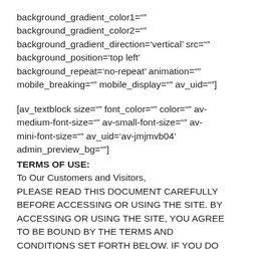background_gradient_color1=" background_gradient_color2=" background_gradient_direction='vertical' src=" background_position='top left' background_repeat='no-repeat' animation=" mobile_breaking=" mobile_display=" av_uid="]
[av_textblock size=" font_color=" color=" av-medium-font-size=" av-small-font-size=" av-mini-font-size=" av_uid='av-jmjmvb04' admin_preview_bg="]
TERMS OF USE:
To Our Customers and Visitors,
PLEASE READ THIS DOCUMENT CAREFULLY BEFORE ACCESSING OR USING THE SITE. BY ACCESSING OR USING THE SITE, YOU AGREE TO BE BOUND BY THE TERMS AND CONDITIONS SET FORTH BELOW. IF YOU DO